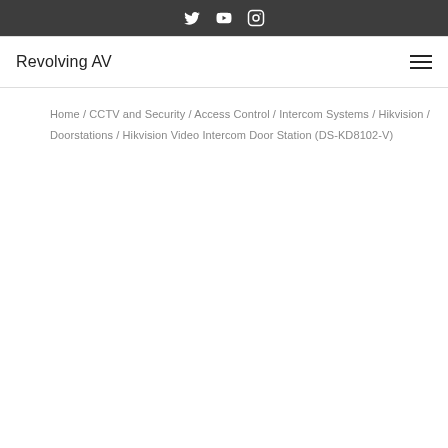Social media icons (Twitter, YouTube, Instagram)
Revolving AV
Home / CCTV and Security / Access Control / Intercom Systems / Hikvision / Doorstations / Hikvision Video Intercom Door Station (DS-KD8102-V)